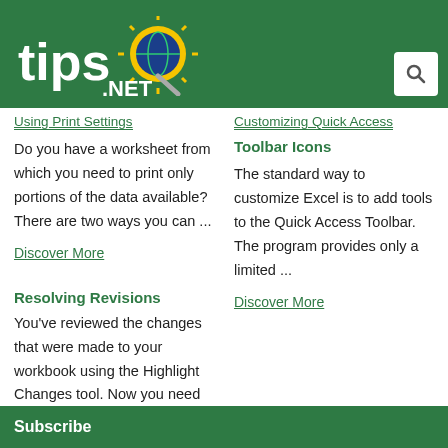tips.NET [logo with magnifying glass and sun] [search icon]
Using Print Settings
Do you have a worksheet from which you need to print only portions of the data available? There are two ways you can ...
Discover More
Customizing Quick Access Toolbar Icons
The standard way to customize Excel is to add tools to the Quick Access Toolbar. The program provides only a limited ...
Discover More
Resolving Revisions
You've reviewed the changes that were made to your workbook using the Highlight Changes tool. Now you need to remove the ...
Discover More
Subscribe